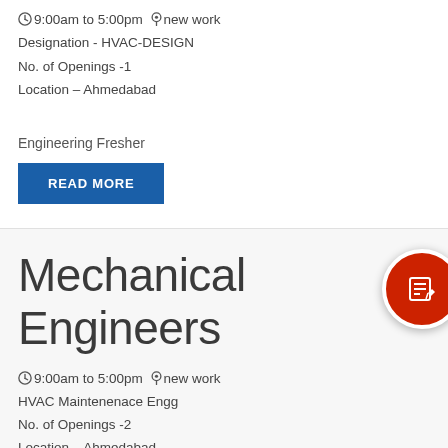⏱9:00am to 5:00pm 📍new work
Designation - HVAC-DESIGN
No. of Openings -1
Location – Ahmedabad
Engineering Fresher
READ MORE
Mechanical Engineers
⏱9:00am to 5:00pm 📍new work
HVAC Maintenenace Engg
No. of Openings -2
Location – Ahmedabad
Engineering Fresher